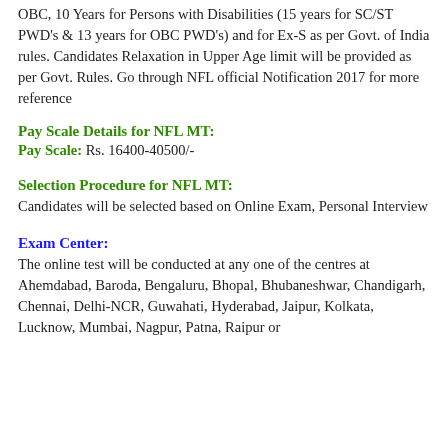OBC, 10 Years for Persons with Disabilities (15 years for SC/ST PWD's & 13 years for OBC PWD's) and for Ex-S as per Govt. of India rules. Candidates Relaxation in Upper Age limit will be provided as per Govt. Rules. Go through NFL official Notification 2017 for more reference
Pay Scale Details for NFL MT:
Pay Scale: Rs. 16400-40500/-
Selection Procedure for NFL MT:
Candidates will be selected based on Online Exam, Personal Interview
Exam Center:
The online test will be conducted at any one of the centres at Ahemdabad, Baroda, Bengaluru, Bhopal, Bhubaneshwar, Chandigarh, Chennai, Delhi-NCR, Guwahati, Hyderabad, Jaipur, Kolkata, Lucknow, Mumbai, Nagpur, Patna, Raipur or